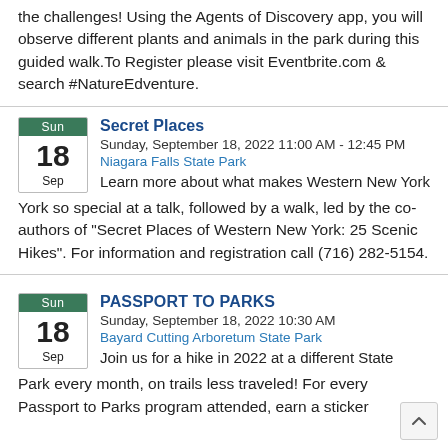the challenges! Using the Agents of Discovery app, you will observe different plants and animals in the park during this guided walk.To Register please visit Eventbrite.com & search #NatureEdventure.
Secret Places
Sunday, September 18, 2022 11:00 AM - 12:45 PM
Niagara Falls State Park
Learn more about what makes Western New York so special at a talk, followed by a walk, led by the co-authors of "Secret Places of Western New York: 25 Scenic Hikes". For information and registration call (716) 282-5154.
PASSPORT TO PARKS
Sunday, September 18, 2022 10:30 AM
Bayard Cutting Arboretum State Park
Join us for a hike in 2022 at a different State Park every month, on trails less traveled! For every Passport to Parks program attended, earn a sticker